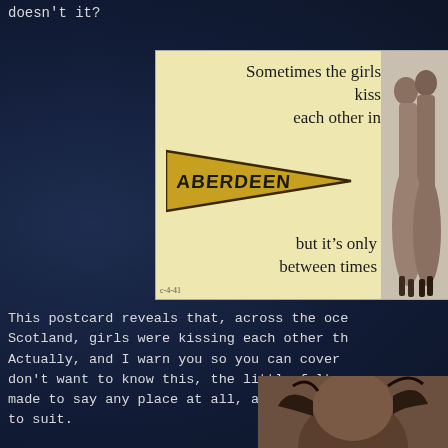doesn't it?
[Figure (photo): Vintage postcard with cream/yellow background showing text 'Sometimes the girls kiss each other in ABERDEEN but it's only between times' alongside a pennant flag and silhouette of two women kissing]
This postcard reveals that, across the oce Scotland, girls were kissing each other th Actually, and I warn you so you can cover don't want to know this, the little felt p made to say any place at all, and attached to suit.
[Figure (photo): Partial photo of a person at the bottom right of the page]